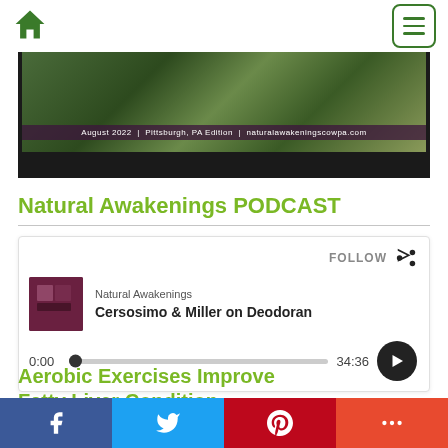Navigation bar with home icon and menu button
[Figure (photo): Natural Awakenings magazine cover image with text: August 2022 | Pittsburgh, PA Edition | naturalawakeningscowpa.com, dark background with plant/garden imagery]
Natural Awakenings PODCAST
[Figure (screenshot): Podcast player widget showing: FOLLOW button, Natural Awakenings channel, episode title 'Cersosimo & Miller on Deodoran', timestamp 0:00 to 34:36, play button]
Aerobic Exercises Improve Fatty Liver Condition
Social sharing bar with Facebook, Twitter, Pinterest, and More buttons